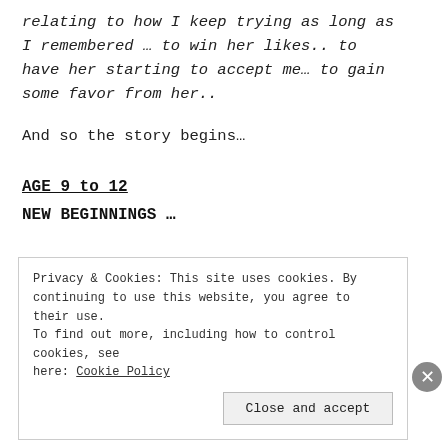relating to how I keep trying as long as I remembered … to win her likes.. to have her starting to accept me… to gain some favor from her..
And so the story begins…
AGE 9 to 12
NEW BEGINNINGS …
Privacy & Cookies: This site uses cookies. By continuing to use this website, you agree to their use. To find out more, including how to control cookies, see here: Cookie Policy
Close and accept